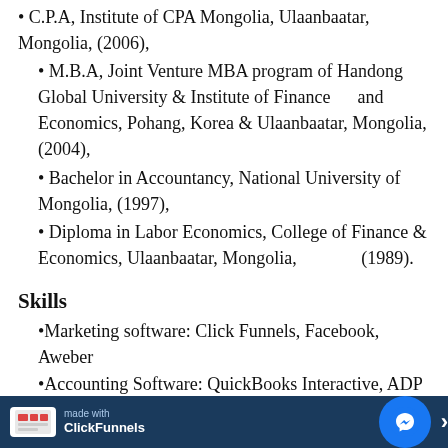• C.P.A, Institute of CPA Mongolia, Ulaanbaatar, Mongolia, (2006),
• M.B.A, Joint Venture MBA program of Handong Global University & Institute of Finance and Economics, Pohang, Korea & Ulaanbaatar, Mongolia, (2004),
• Bachelor in Accountancy, National University of Mongolia, (1997),
• Diploma in Labor Economics, College of Finance & Economics, Ulaanbaatar, Mongolia, (1989).
Skills
•Marketing software: Click Funnels, Facebook, Aweber
•Accounting Software: QuickBooks Interactive, ADP and MYOB